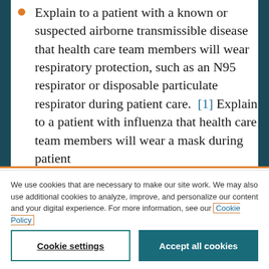Explain to a patient with a known or suspected airborne transmissible disease that health care team members will wear respiratory protection, such as an N95 respirator or disposable particulate respirator during patient care. [1] Explain to a patient with influenza that health care team members will wear a mask during patient
We use cookies that are necessary to make our site work. We may also use additional cookies to analyze, improve, and personalize our content and your digital experience. For more information, see our Cookie Policy
Cookie settings
Accept all cookies